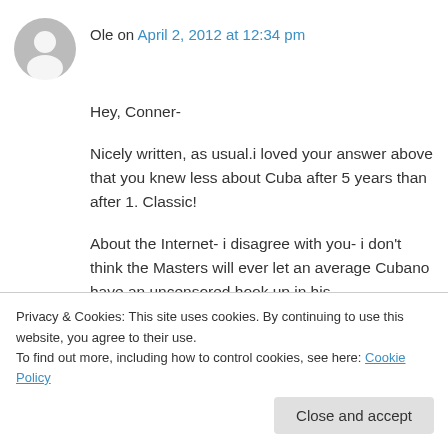[Figure (illustration): Grey circular avatar icon of a generic user silhouette]
Ole on April 2, 2012 at 12:34 pm
Hey, Conner-
Nicely written, as usual.i loved your answer above that you knew less about Cuba after 5 years than after 1. Classic!
About the Internet- i disagree with you- i don't think the Masters will ever let an average Cubano have an uncensored hook up in his
Privacy & Cookies: This site uses cookies. By continuing to use this website, you agree to their use.
To find out more, including how to control cookies, see here: Cookie Policy
Close and accept